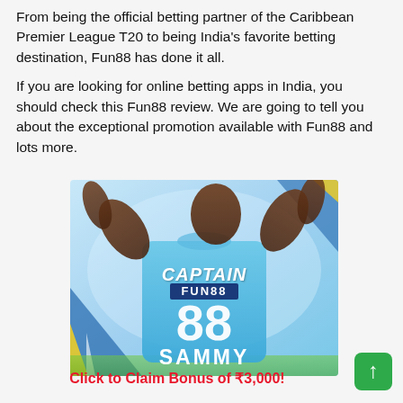From being the official betting partner of the Caribbean Premier League T20 to being India's favorite betting destination, Fun88 has done it all.
If you are looking for online betting apps in India, you should check this Fun88 review. We are going to tell you about the exceptional promotion available with Fun88 and lots more.
[Figure (photo): A cricketer seen from behind wearing a blue jersey that reads 'CAPTAIN FUN88 88 SAMMY', raising both arms in a celebratory pose. Stadium background visible.]
Click to Claim Bonus of ₹3,000!